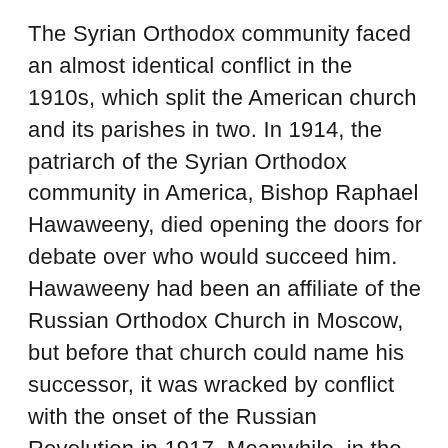The Syrian Orthodox community faced an almost identical conflict in the 1910s, which split the American church and its parishes in two. In 1914, the patriarch of the Syrian Orthodox community in America, Bishop Raphael Hawaweeny, died opening the doors for debate over who would succeed him. Hawaweeny had been an affiliate of the Russian Orthodox Church in Moscow, but before that church could name his successor, it was wracked by conflict with the onset of the Russian Revolution in 1917. Meanwhile, in the United States, Bishop Germanos Shahadi, an affiliate of the Orthodox Church of Antioch, laid claim to Hawaweeny's legacy in America. Bishop Germanos was well liked and respected by many priests and communities in the U.S. However, when the Russian Church finally appointed Bishop Aftimios Ofiesh as Bishop Hawaweeny's successor, the Orthodox community became divided over those